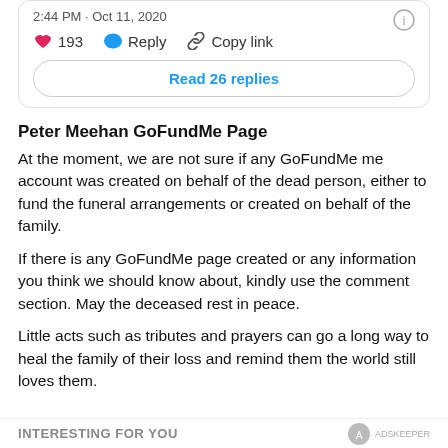[Figure (screenshot): Twitter/social media card showing timestamp '2:44 PM · Oct 11, 2020', a heart icon with count 193, Reply button, Copy link button, and a 'Read 26 replies' button]
Peter Meehan GoFundMe Page
At the moment, we are not sure if any GoFundMe me account was created on behalf of the dead person, either to fund the funeral arrangements or created on behalf of the family.
If there is any GoFundMe page created or any information you think we should know about, kindly use the comment section. May the deceased rest in peace.
Little acts such as tributes and prayers can go a long way to heal the family of their loss and remind them the world still loves them.
INTERESTING FOR YOU